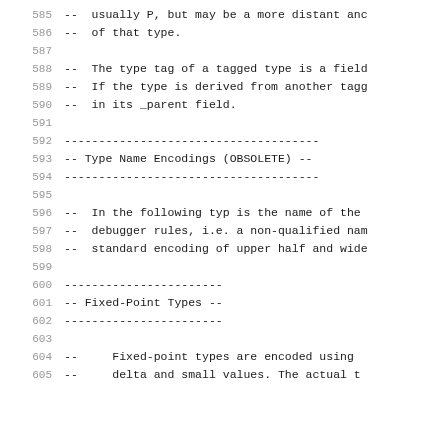585  --  usually P, but may be a more distant anc
586  --  of that type.
587
588  --  The type tag of a tagged type is a field
589  --  If the type is derived from another tagg
590  --  in its _parent field.
591
592  -------------------------------------
593  -- Type Name Encodings (OBSOLETE) --
594  -------------------------------------
595
596  --  In the following typ is the name of the
597  --  debugger rules, i.e. a non-qualified nam
598  --  standard encoding of upper half and wide
599
600  -----------------------
601  -- Fixed-Point Types --
602  -----------------------
603
604  --     Fixed-point types are encoded using
605  --     delta and small values. The actual t